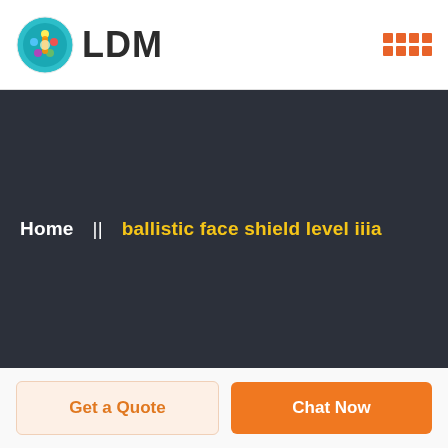LDM
Home  ||  ballistic face shield level iiia
Get a Quote
Chat Now